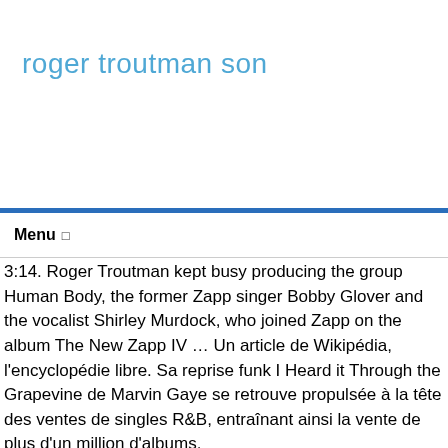roger troutman son
Menu
3:14. Roger Troutman kept busy producing the group Human Body, the former Zapp singer Bobby Glover and the vocalist Shirley Murdock, who joined Zapp on the album The New Zapp IV … Un article de Wikipédia, l'encyclopédie libre. Sa reprise funk I Heard it Through the Grapevine de Marvin Gaye se retrouve propulsée à la tête des ventes de singles R&B, entraînant ainsi la vente de plus d'un million d'albums.